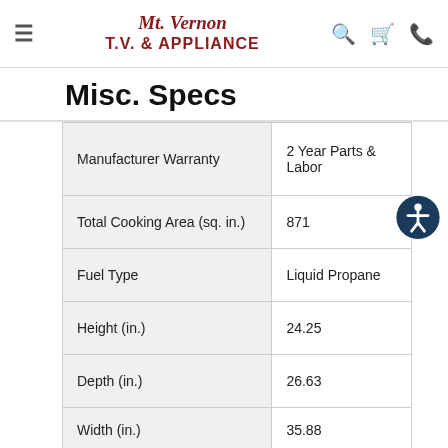Mt. Vernon T.V. & Appliance
Misc. Specs
|  |  |
| --- | --- |
| Manufacturer Warranty | 2 Year Parts & Labor |
| Total Cooking Area (sq. in.) | 871 |
| Fuel Type | Liquid Propane |
| Height (in.) | 24.25 |
| Depth (in.) | 26.63 |
| Width (in.) | 35.88 |